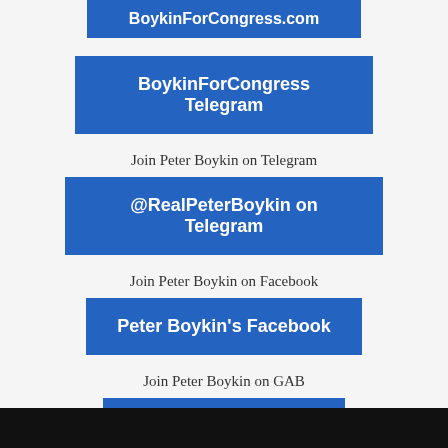BoykinForCongress.com (partial button top)
BoykinForCongress Telegram
Join Peter Boykin on Telegram
@RealPeterBoykin on Telegram
Join Peter Boykin on Facebook
Peter Boykin's Facebook
Join Peter Boykin on GAB
Peter Boykin's GAB
Support The Podcast and Website
To Donate to the Podcast (NOT THE CAMPAIGN)